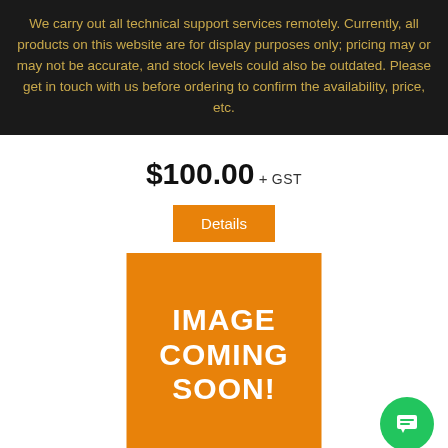We carry out all technical support services remotely. Currently, all products on this website are for display purposes only; pricing may or may not be accurate, and stock levels could also be outdated. Please get in touch with us before ordering to confirm the availability, price, etc.
$100.00 + GST
Details
[Figure (illustration): Orange square placeholder image with white bold text reading IMAGE COMING SOON!]
[Figure (illustration): Green circular chat/support button with speech bubble icon in bottom right corner]